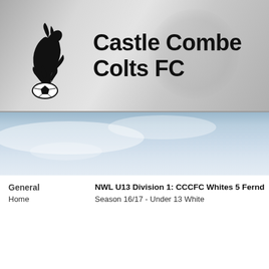[Figure (logo): Castle Combe Colts FC header banner with club logo (rearing horse on football) and club name text]
[Figure (photo): Sky/clouds background banner image in blue-grey tones]
General
Home
NWL U13 Division 1: CCCFC Whites 5 Ferndale Ro
Season 16/17 - Under 13 White